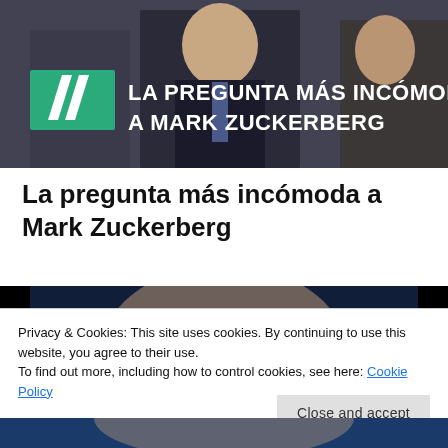[Figure (photo): A man in a dark suit at what appears to be a congressional hearing. Overlay text reads: 'LA PREGUNTA MÁS INCÓMODA A MARK ZUCKERBERG' with a green Huffington Post logo.]
La pregunta más incómoda a Mark Zuckerberg
[Figure (photo): Partially visible photo of a person, mostly cropped by cookie banner overlay.]
Privacy & Cookies: This site uses cookies. By continuing to use this website, you agree to their use.
To find out more, including how to control cookies, see here: Cookie Policy
Close and accept